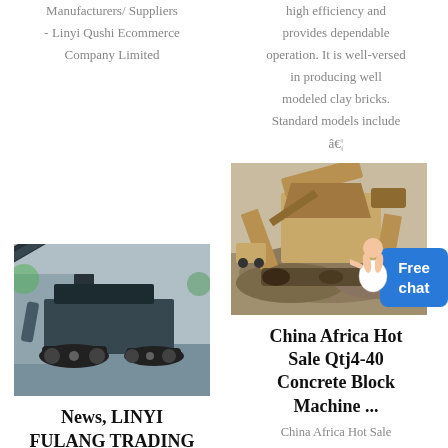Manufacturers/ Suppliers - Linyi Qushi Ecommerce Company Limited
high efficiency and provides dependable operation. It is well-versed in producing well modeled clay bricks. Standard models include â€¦
[Figure (photo): Industrial mobile crushing/screening machine on tracked chassis, photographed outdoors]
[Figure (photo): Heavy industrial mining/crushing machine with large bucket, photographed outdoors on gravel pile]
News, LINYI FULANG TRADING CO.,LTD
China Africa Hot Sale Qtj4-40 Concrete Block Machine ...
Fulang machine is a professional manufacturer of all kinds
China Africa Hot Sale Qtj4-40 Concrete Bl...